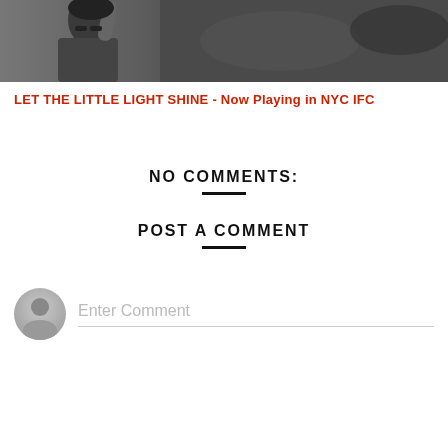[Figure (photo): Banner photo showing a person in a dark beanie and glasses with crowd and cars in background, dark urban scene]
LET THE LITTLE LIGHT SHINE - Now Playing in NYC IFC
NO COMMENTS:
POST A COMMENT
Enter Comment